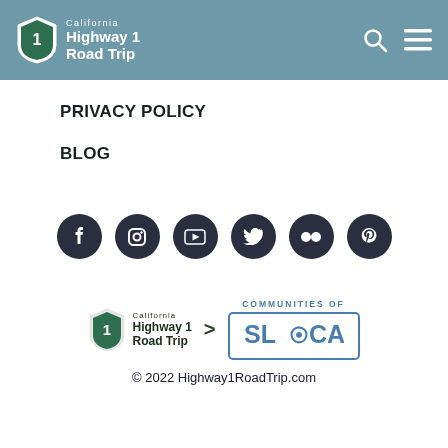California Highway 1 Road Trip
PRIVACY POLICY
BLOG
[Figure (infographic): Row of six social media icon buttons (Facebook, Instagram, YouTube, Twitter, Flickr, Pinterest) as dark navy circles with white icons]
[Figure (logo): California Highway 1 Road Trip logo with green shield and number 1, arrow pointing to SLO CAL Communities of SLO CAL logo in blue bordered box]
© 2022 Highway1RoadTrip.com